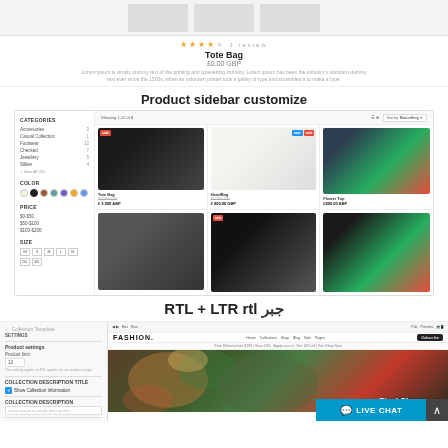[Figure (screenshot): Three product thumbnail placeholders at top]
[Figure (screenshot): Product card showing Tote Bag with star rating, price £0.00 GBP, and description text]
Product sidebar customize
[Figure (screenshot): E-commerce product listing page with category sidebar on left showing filters (Categories, Color swatches, Price, Size) and 6 product grid items (Tote Bag, Handbag, Flower Top, jeans, heels, t-shirt) with sale/new badges]
RTL + LTR rtl جبر
[Figure (screenshot): Collection template editor panel on left with product settings and a fashion website preview on right showing FASHION. brand header and hero image with 'Final Clearance' text, plus live chat button in bottom right]